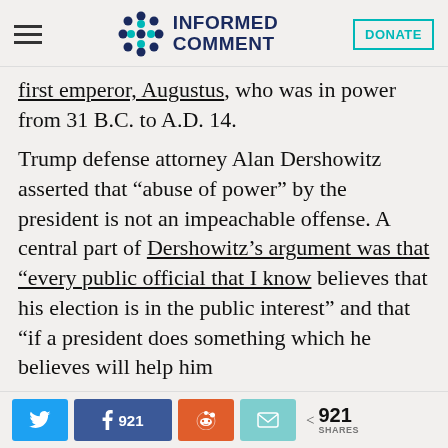Informed Comment — DONATE
first emperor, Augustus, who was in power from 31 B.C. to A.D. 14.
Trump defense attorney Alan Dershowitz asserted that “abuse of power” by the president is not an impeachable offense. A central part of Dershowitz’s argument was that “every public official that I know believes that his election is in the public interest” and that “if a president does something which he believes will help him
921 SHARES — Twitter, Facebook 921, Reddit, Email